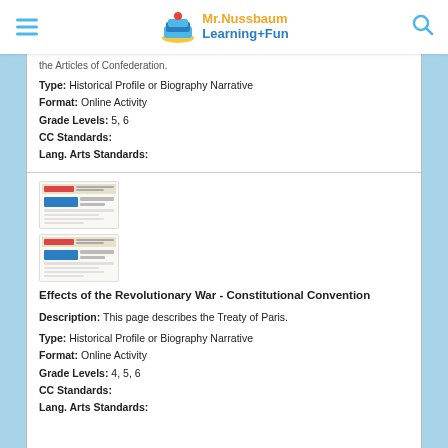Mr. Nussbaum Learning+Fun
the Articles of Confederation.
Type: Historical Profile or Biography Narrative
Format: Online Activity
Grade Levels: 5, 6
CC Standards:
Lang. Arts Standards:
[Figure (screenshot): Two thumbnail images of an educational activity page about Revolutionary War - Constitutional Convention]
Effects of the Revolutionary War - Constitutional Convention
Description: This page describes the Treaty of Paris.
Type: Historical Profile or Biography Narrative
Format: Online Activity
Grade Levels: 4, 5, 6
CC Standards:
Lang. Arts Standards: